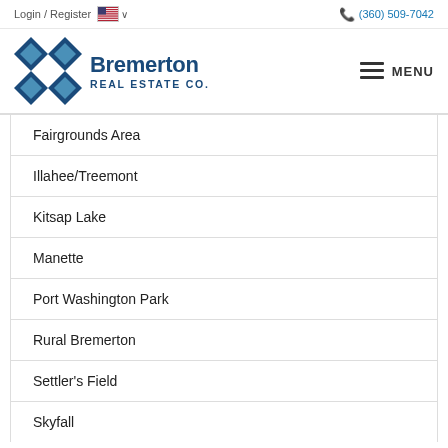Login / Register  (360) 509-7042
[Figure (logo): Bremerton Real Estate Co. logo with diamond-shaped geometric icon in blue and teal, company name in dark blue text]
Fairgrounds Area
Illahee/Treemont
Kitsap Lake
Manette
Port Washington Park
Rural Bremerton
Settler's Field
Skyfall